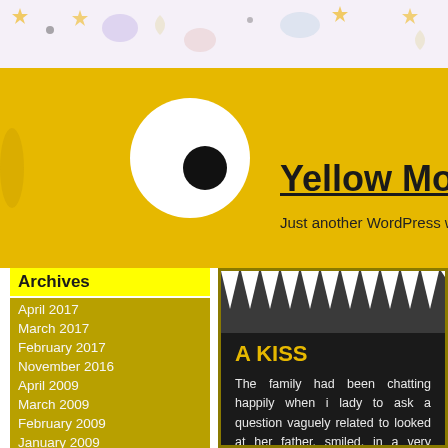[Figure (illustration): Decorative top banner with cartoon monsters/creatures on a white background with pastel colors]
[Figure (illustration): Yellow monster head area with large white eye with black pupil on a yellow/gold background]
Yellow Mons...
Just another WordPress w...
Archives
April 2017
March 2017
February 2017
November 2016
April 2009
March 2009
February 2009
January 2009
December 2008
November 2008
Meta
Log in
Entries RSS
A KISS
The family had been chatting happily when i... lady to ask a question vaguely related to... looked at her father, smiled, in a very misch... she asked, “have you ever been kissed by... eyebrows and stared at the ceiling for a... thought about the question. He turned to hi... look of total innocence, replied. “As a mat... kissed by four men.” the mans family treat...